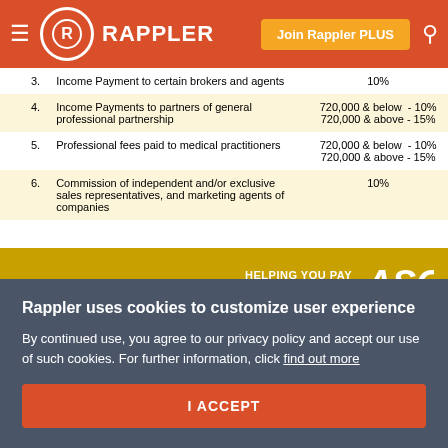Rappler — Join Rappler PLUS
| # | Type of Income Payment | Rate |
| --- | --- | --- |
| 3. | Income Payment to certain brokers and agents | 10% |
| 4. | Income Payments to partners of general professional partnership | 720,000 & below - 10%
720,000 & above - 15% |
| 5. | Professional fees paid to medical practitioners | 720,000 & below - 10%
720,000 & above - 15% |
| 6. | Commission of independent and/or exclusive sales representatives, and marketing agents of companies | 10% |
[Figure (infographic): Yellow banner with text HELPING YOU PAY THE RIGHT TAXES! and ASG logo]
What would happen if I did not subject my purchases and/or expenses to withholding tax or did not remit
Rappler uses cookies to customize user experience
By continued use, you agree to our privacy policy and accept our use of such cookies. For further information, click find out more
I ACCEPT